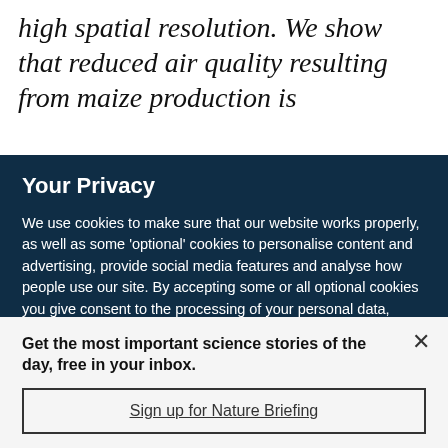high spatial resolution. We show that reduced air quality resulting from maize production is
Your Privacy
We use cookies to make sure that our website works properly, as well as some 'optional' cookies to personalise content and advertising, provide social media features and analyse how people use our site. By accepting some or all optional cookies you give consent to the processing of your personal data, including transfer to third parties, some in countries outside of the European Economic Area that do not offer the same data protection standards as the country where you live. You can decide which optional cookies to accept by clicking on 'Manage Settings', where you can
Get the most important science stories of the day, free in your inbox.
Sign up for Nature Briefing